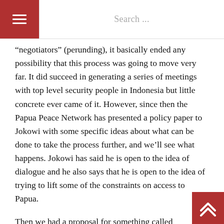≡  Search ...
“negotiators” (perunding), it basically ended any possibility that this process was going to move very far. It did succeed in generating a series of meetings with top level security people in Indonesia but little concrete ever came of it. However, since then the Papua Peace Network has presented a policy paper to Jokowi with some specific ideas about what can be done to take the process further, and we’ll see what happens. Jokowi has said he is open to the idea of dialogue and he also says that he is open to the idea of trying to lift some of the constraints on access to Papua.
Then we had a proposal for something called Enhanced Special Autonomy (Otonomi Khusus